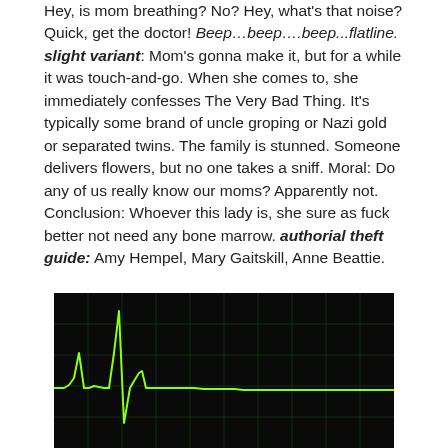Hey, is mom breathing? No? Hey, what's that noise? Quick, get the doctor! Beep…beep….beep...flatline. slight variant: Mom's gonna make it, but for a while it was touch-and-go. When she comes to, she immediately confesses The Very Bad Thing. It's typically some brand of uncle groping or Nazi gold or separated twins. The family is stunned. Someone delivers flowers, but no one takes a sniff. Moral: Do any of us really know our moms? Apparently not. Conclusion: Whoever this lady is, she sure as fuck better not need any bone marrow. authorial theft guide: Amy Hempel, Mary Gaitskill, Anne Beattie.
[Figure (continuous-plot): ECG/heartbeat monitor waveform displayed on a dark/black screen with a bright green line showing a cardiac waveform pattern with peaks and a flatline segment at the right.]